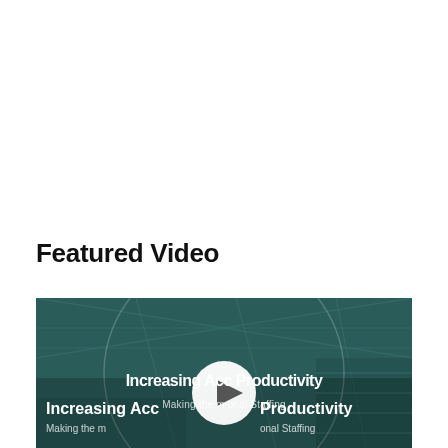Featured Video
[Figure (screenshot): Video thumbnail showing a warehouse/industrial facility interior with a teal/dark green color overlay. White bold text reads 'Increasing Accuracy Productivity' and lighter text reads 'Making the most of Seasonal Staffing'. A white circular play button icon is centered over the image. A large faint circle outline is visible in the background as a decorative element.]